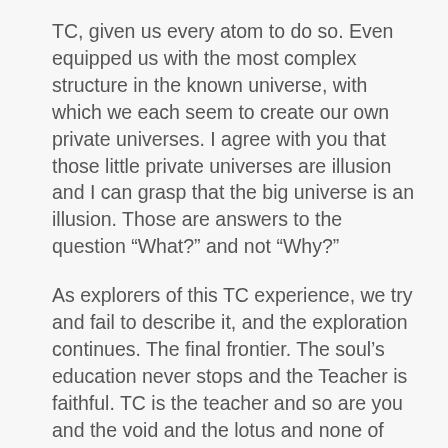TC, given us every atom to do so. Even equipped us with the most complex structure in the known universe, with which we each seem to create our own private universes. I agree with you that those little private universes are illusion and I can grasp that the big universe is an illusion. Those are answers to the question “What?” and not “Why?”
As explorers of this TC experience, we try and fail to describe it, and the exploration continues. The final frontier. The soul’s education never stops and the Teacher is faithful. TC is the teacher and so are you and the void and the lotus and none of those. That which precedes all names can have as many names as it wants. No shortage of names or numbers or forms. Still we try to describe it. That’s why I enjoy your posts and why I write mine.